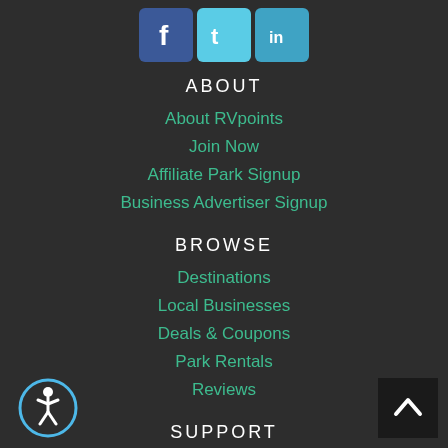[Figure (other): Social media icons: Facebook (blue), Twitter (light blue), LinkedIn (blue-teal)]
ABOUT
About RVpoints
Join Now
Affiliate Park Signup
Business Advertiser Signup
BROWSE
Destinations
Local Businesses
Deals & Coupons
Park Rentals
Reviews
SUPPORT
Terms of Use
[Figure (other): Accessibility icon: circular button with wheelchair user symbol]
[Figure (other): Back to top button: dark square with upward chevron arrow]